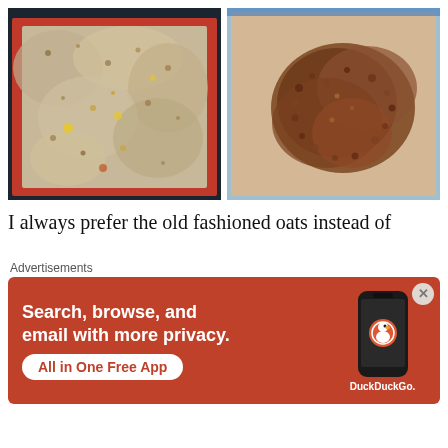[Figure (photo): Two side-by-side photos of granola/oat mixture spread on baking sheets. Left photo shows raw/unbaked granola mixture on a red silicone mat in a dark baking pan. Right photo shows toasted/baked darker granola on a tan silicone mat in a light pan.]
I always prefer the old fashioned oats instead of
Advertisements
[Figure (infographic): DuckDuckGo advertisement banner. Red background. Text: 'Search, browse, and email with more privacy. All in One Free App'. Shows an image of a smartphone with DuckDuckGo logo and branding.]